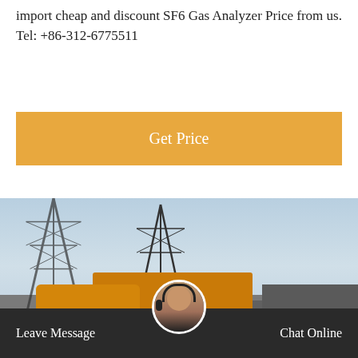import cheap and discount SF6 Gas Analyzer Price from us. Tel: +86-312-6775511
[Figure (other): Orange button with text 'Get Price']
[Figure (photo): An orange truck parked in an industrial yard with metal tower structures in the background and dark buildings to the right]
[Figure (other): Bottom navigation bar with 'Leave Message', headset avatar, and 'Chat Online' options on dark background]